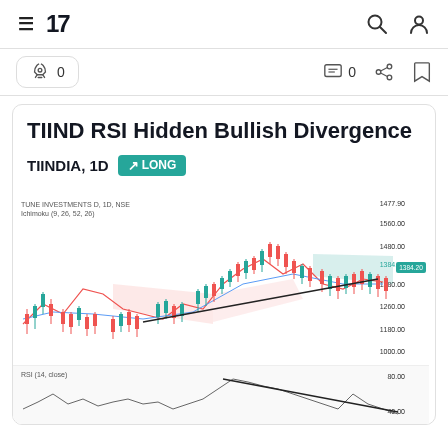TradingView
TIIND RSI Hidden Bullish Divergence
TIINDIA, 1D  LONG
[Figure (continuous-plot): Candlestick chart of TUNE INVESTMENTS D, 1D, NSE with Ichimoku (9, 26, 52, 26) overlay showing price action with green cloud region on right, bearish red candles, bullish green candles, and two trend lines drawn — one ascending on price (hidden bullish divergence) and one descending on RSI below. Price range approximately 1100-1580. RSI(14,close) panel shown below with divergence trendline.]